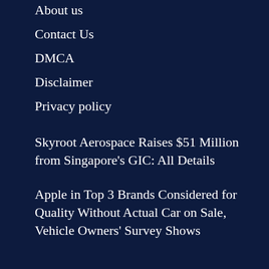About us
Contact Us
DMCA
Disclaimer
Privacy policy
Skyroot Aerospace Raises $51 Million from Singapore's GIC: All Details
Apple in Top 3 Brands Considered for Quality Without Actual Car on Sale, Vehicle Owners' Survey Shows